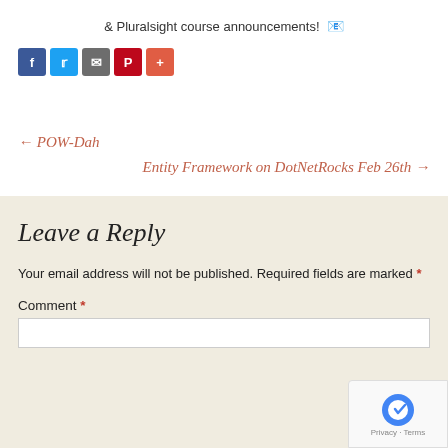& Pluralsight course announcements! 📧
[Figure (other): Row of social sharing icons: Facebook (blue), Twitter (light blue), email/share (gray), Pinterest (red), and a plus/more button (red-orange)]
← POW-Dah
Entity Framework on DotNetRocks Feb 26th →
Leave a Reply
Your email address will not be published. Required fields are marked *
Comment *